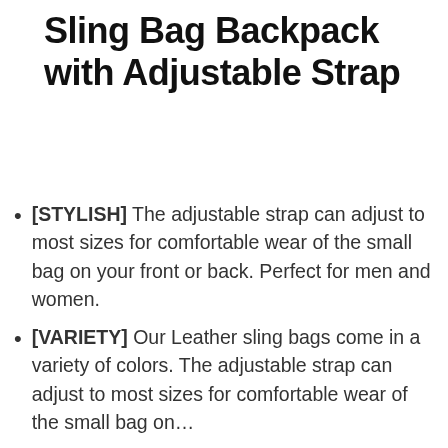Sling Bag Backpack with Adjustable Strap
[STYLISH] The adjustable strap can adjust to most sizes for comfortable wear of the small bag on your front or back. Perfect for men and women.
[VARIETY] Our Leather sling bags come in a variety of colors. The adjustable strap can adjust to most sizes for comfortable wear of the small bag on…
[VERSATILE] This small bag can be worn on the side, chest or back. It can fit items such as, small tablets / sunglasses / water bottle / keys / wallet…
[MATERIAL] It lasts a very long time and usually does not crack or wear down easily.
WE COUNT WITH AMAZING CUSTOMER SERVICE: We want to make sure you love your sling bag! Please reach out with any feedback you have; we like to hear…